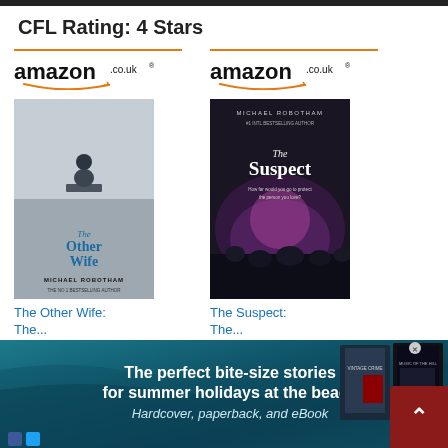CFL Rating: 4 Stars
[Figure (other): Amazon.co.uk product listing for 'The Other Wife' by Michael Robotham, showing book cover, price £4.99, and Shop now button]
[Figure (other): Amazon.co.uk product listing for 'The Suspect' by Michael Robotham, showing book cover, price £4.99, and Shop now button]
[Figure (infographic): Banner advertisement: 'The perfect bite-size stories for summer holidays at the beach. Hardcover, paperback, and eBook' with teal ocean background and book covers on the right]